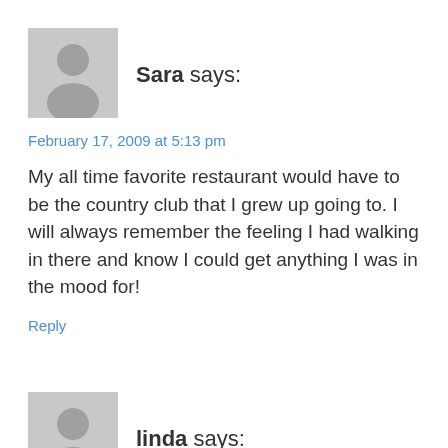[Figure (illustration): Generic grey avatar silhouette icon for commenter Sara]
Sara says:
February 17, 2009 at 5:13 pm
My all time favorite restaurant would have to be the country club that I grew up going to. I will always remember the feeling I had walking in there and know I could get anything I was in the mood for!
Reply
[Figure (illustration): Generic grey avatar silhouette icon for commenter linda]
linda says:
February 17, 2009 at 4:43 pm
My favorite restaurant is Salernos in CT. They make